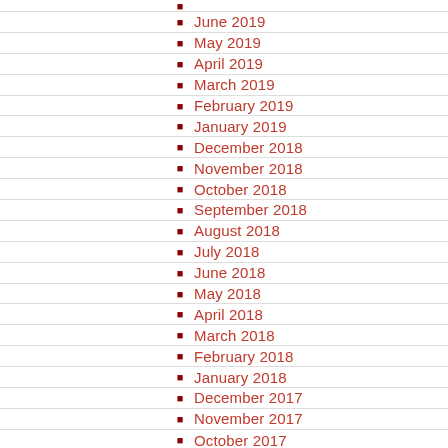June 2019
May 2019
April 2019
March 2019
February 2019
January 2019
December 2018
November 2018
October 2018
September 2018
August 2018
July 2018
June 2018
May 2018
April 2018
March 2018
February 2018
January 2018
December 2017
November 2017
October 2017